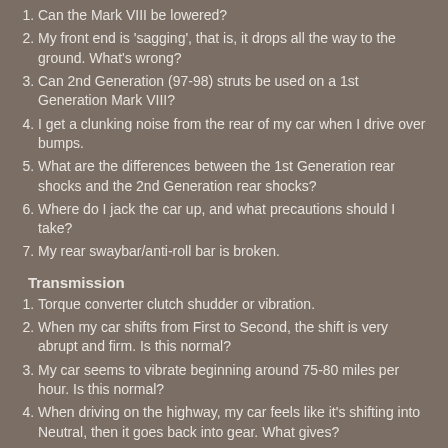1. Can the Mark VIII be lowered?
2. My front end is 'sagging', that is, it drops all the way to the ground. What's wrong?
3. Can 2nd Generation (97-98) struts be used on a 1st Generation Mark VIII?
4. I get a clunking noise from the rear of my car when I drive over bumps.
5. What are the differences between the 1st Generation rear shocks and the 2nd Generation rear shocks?
6. Where do I jack the car up, and what precautions should I take?
7. My rear swaybar/anti-roll bar is broken.
Transmission
1. Torque converter clutch shudder or vibration.
2. When my car shifts from First to Second, the shift is very abrupt and firm. Is this normal?
3. My car seems to vibrate beginning around 75-80 miles per hour. Is this normal?
4. When driving on the highway, my car feels like it's shifting into Neutral, then it goes back into gear. What gives?
5. My mechanic said that I can only use Mercon III, not Mercon V in my transmission.
Exterior
1. My 1st Generation (93-96) Ixl beams are about as effective as a...